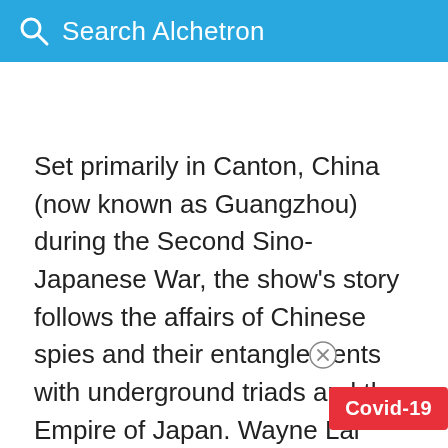Search Alchetron
Set primarily in Canton, China (now known as Guangzhou) during the Second Sino-Japanese War, the show's story follows the affairs of Chinese spies and their entanglements with underground triads and the Empire of Japan. Wayne Lai stars as special government agent Kong Sheung-hung. Co-starring is Myolie Wu as Kong's partner Cheung Kei-sang, and Edwin Siu as their rival, Chau Sai-kai. No Reserve premiered on 1 October 2016 on TVB's streaming service, myTV SUPER. It had a mainstream premiere at TVB Jade...